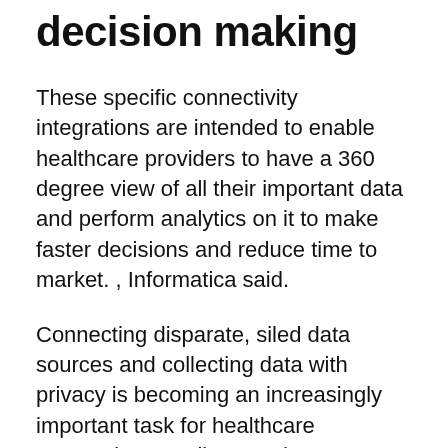decision making
These specific connectivity integrations are intended to enable healthcare providers to have a 360 degree view of all their important data and perform analytics on it to make faster decisions and reduce time to market. , Informatica said.
Connecting disparate, siled data sources and collecting data with privacy is becoming an increasingly important task for healthcare companies, Mueller noted.
To that end, the new healthcare and life sciences platform also supports healthcare industry-specific extensions to ensure compliance with healthcare-related